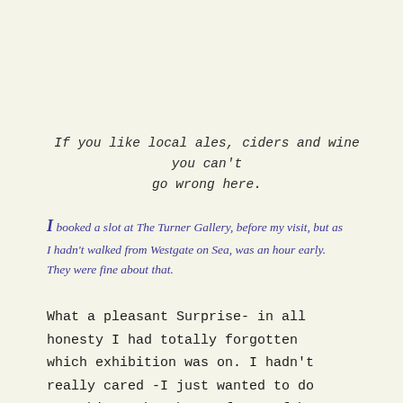If you like local ales, ciders and wine you can't go wrong here.
I booked a slot at The Turner Gallery, before my visit, but as I hadn't walked from Westgate on Sea, was an hour early. They were fine about that.
What a pleasant Surprise- in all honesty I had totally forgotten which exhibition was on. I hadn't really cared -I just wanted to do Something. The theme of one of her